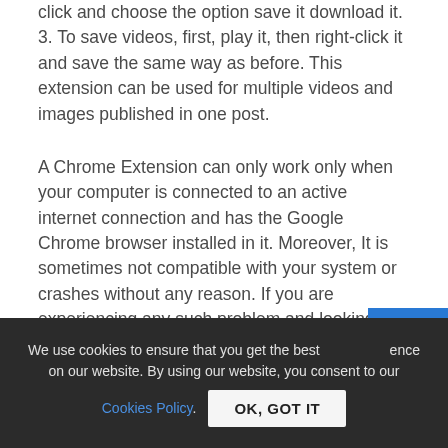click and choose the option save it download it.
3. To save videos, first, play it, then right-click it and save the same way as before. This extension can be used for multiple videos and images published in one post.
A Chrome Extension can only work only when your computer is connected to an active internet connection and has the Google Chrome browser installed in it. Moreover, It is sometimes not compatible with your system or crashes without any reason. If you are experiencing any such problem and looking for...
We use cookies to ensure that you get the best experience on our website. By using our website, you consent to our Cookies Policy.